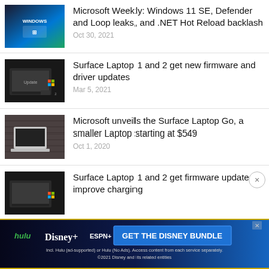[Figure (screenshot): Thumbnail for Windows 11 SE article showing dark background with Microsoft logo]
Microsoft Weekly: Windows 11 SE, Defender and Loop leaks, and .NET Hot Reload backlash
Oct 30, 2021
[Figure (screenshot): Thumbnail for Surface Laptop firmware article showing laptop on dark background with Update label]
Surface Laptop 1 and 2 get new firmware and driver updates
Mar 5, 2021
[Figure (photo): Thumbnail showing Surface Laptop Go device on woven surface]
Microsoft unveils the Surface Laptop Go, a smaller Laptop starting at $549
Oct 1, 2020
[Figure (screenshot): Thumbnail for Surface Laptop charging article showing laptop on dark background]
Surface Laptop 1 and 2 get firmware updates to improve charging
[Figure (screenshot): Advertisement banner for Disney Bundle featuring Hulu, Disney+, and ESPN+]